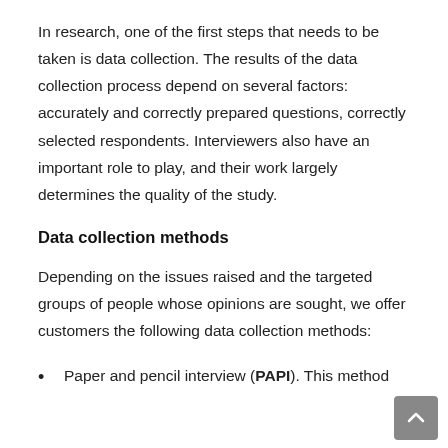In research, one of the first steps that needs to be taken is data collection. The results of the data collection process depend on several factors: accurately and correctly prepared questions, correctly selected respondents. Interviewers also have an important role to play, and their work largely determines the quality of the study.
Data collection methods
Depending on the issues raised and the targeted groups of people whose opinions are sought, we offer customers the following data collection methods:
Paper and pencil interview (PAPI). This method